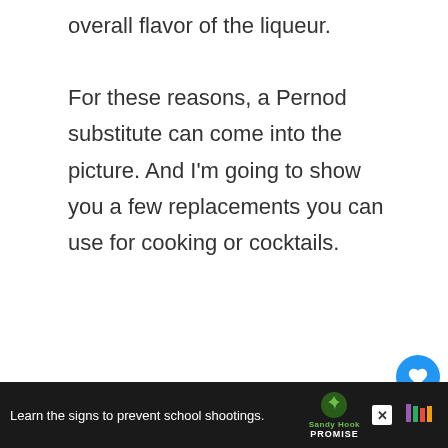overall flavor of the liqueur.
For these reasons, a Pernod substitute can come into the picture. And I'm going to show you a few replacements you can use for cooking or cocktails.
| Table Of Contents |
| --- |
| What Is Pernod Liqueur? |
| What Is Pernod Made from... |
[Figure (screenshot): Social sharing sidebar with heart button (count: 1) and share button]
[Figure (screenshot): What's Next panel showing '12 Substitutes for Amaretto Liqueu...' with food image]
[Figure (screenshot): Advertisement bar at bottom: 'Learn the signs to prevent school shootings.' with Sandy Hook Promise logo]